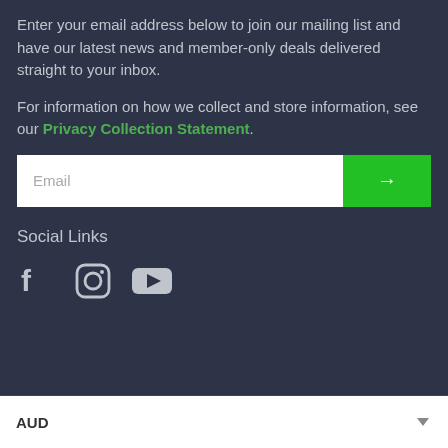Enter your email address below to join our mailing list and have our latest news and member-only deals delivered straight to your inbox.
For information on how we collect and store information, see our Privacy Collection Statement.
[Figure (other): Email input field with a green arrow submit button]
Social Links
[Figure (other): Social media icons: Facebook, Instagram, YouTube]
[Figure (other): AUD currency selector dropdown at the bottom]